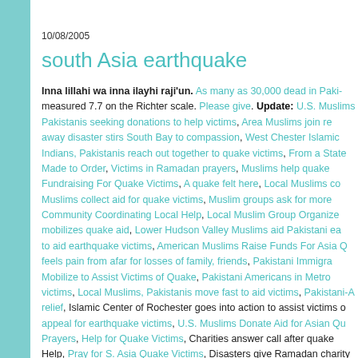10/08/2005
south Asia earthquake
Inna lillahi wa inna ilayhi raji'un. As many as 30,000 dead in Paki... measured 7.7 on the Richter scale. Please give. Update: U.S. Muslims... Pakistanis seeking donations to help victims, Area Muslims join re... away disaster stirs South Bay to compassion, West Chester Islamic... Indians, Pakistanis reach out together to quake victims, From a State... Made to Order, Victims in Ramadan prayers, Muslims help quake... Fundraising For Quake Victims, A quake felt here, Local Muslims co... Muslims collect aid for quake victims, Muslim groups ask for more... Community Coordinating Local Help, Local Muslim Group Organize... mobilizes quake aid, Lower Hudson Valley Muslims aid Pakistani ea... to aid earthquake victims, American Muslims Raise Funds For Asia Q... feels pain from afar for losses of family, friends, Pakistani Immigra... Mobilize to Assist Victims of Quake, Pakistani Americans in Metro... victims, Local Muslims, Pakistanis move fast to aid victims, Pakistani-A... relief, Islamic Center of Rochester goes into action to assist victims o... appeal for earthquake victims, U.S. Muslims Donate Aid for Asian Qu... Prayers, Help for Quake Victims, Charities answer call after quake... Help, Pray for S. Asia Quake Victims, Disasters give Ramadan charity...